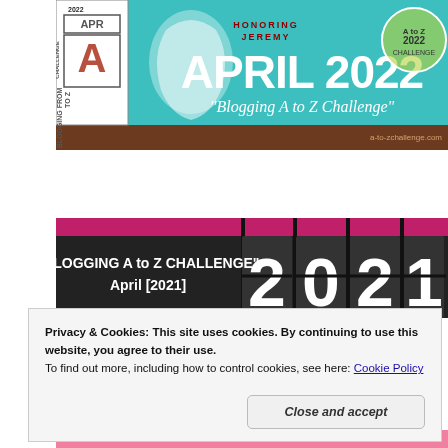[Figure (illustration): Blogging A to Z Challenge April 2022 banner with silhouette face, teal background, brown strip at bottom, a-to-zchallenge.com]
[Figure (illustration): Blogging A to Z Challenge April 2021 banner with split-flap display showing 2021, magenta and black background]
Privacy & Cookies: This site uses cookies. By continuing to use this website, you agree to their use.
To find out more, including how to control cookies, see here: Cookie Policy
Close and accept